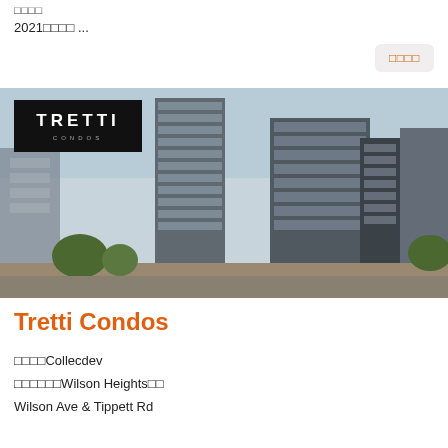□□□□
2021□□□□ ...
□□□□
[Figure (photo): Architectural rendering of Tretti Condos — a modern multi-tower condominium complex with glass facades, viewed from street level with trees and pedestrians in the foreground. The Tretti Condos logo (white text on black background) is overlaid in the upper-left of the image.]
Tretti Condos
□□□□Collecdev
□□□□□□Wilson Heights□□
Wilson Ave & Tippett Rd